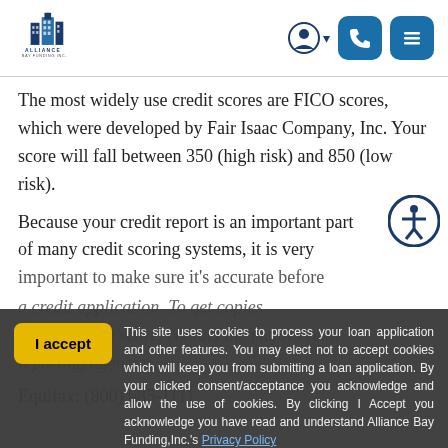[Figure (logo): Alliance Bay Funding Inc. logo with building graphic and company name]
The most widely use credit scores are FICO scores, which were developed by Fair Isaac Company, Inc. Your score will fall between 350 (high risk) and 850 (low risk).
Because your credit report is an important part of many credit scoring systems, it is very important to make sure it's accurate before a credit application. To get copies of your credit report, contact the major credit reporting agencies.
Equifax: (800) 685-1111
This site uses cookies to process your loan application and other features. You may elect not to accept cookies which will keep you from submitting a loan application. By your clicked consent/acceptance you acknowledge and allow the use of cookies. By clicking I Accept you acknowledge you have read and understand Alliance Bay Funding,Inc.'s Privacy Policy